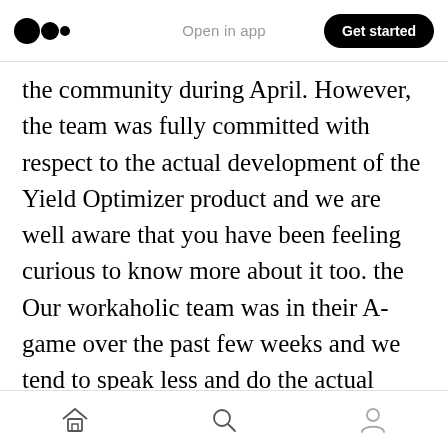Medium logo | Open in app | Get started
the community during April. However, the team was fully committed with respect to the actual development of the Yield Optimizer product and we are well aware that you have been feeling curious to know more about it too. the Our workaholic team was in their A-game over the past few weeks and we tend to speak less and do the actual work more. Although we have been in the stealth mode for the past couple of weeks, you guys will be happy with the strides we made with real progress towards our ultimate weapon, the Yield Optimizer.
Home | Search | Profile